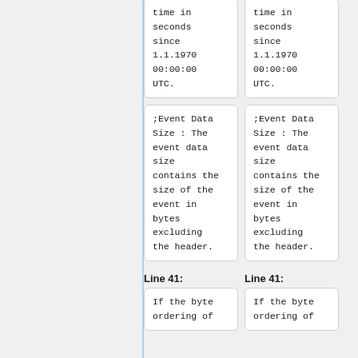| time in
seconds
since
1.1.1970
00:00:00
UTC. | time in
seconds
since
1.1.1970
00:00:00
UTC. |
| ;Event Data
Size : The
event data
size
contains the
size of the
event in
bytes
excluding
the header. | ;Event Data
Size : The
event data
size
contains the
size of the
event in
bytes
excluding
the header. |
Line 41:    Line 41:
| If the byte
ordering of | If the byte
ordering of |